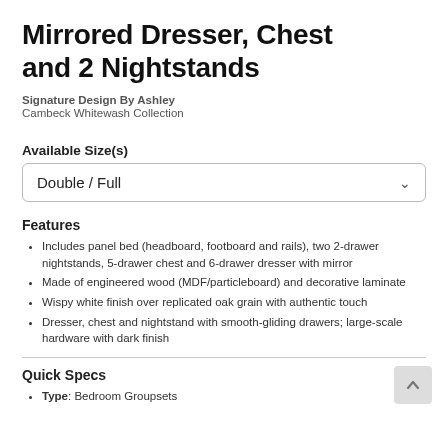Mirrored Dresser, Chest and 2 Nightstands
Signature Design By Ashley
Cambeck Whitewash Collection
Available Size(s)
Double / Full
Features
Includes panel bed (headboard, footboard and rails), two 2-drawer nightstands, 5-drawer chest and 6-drawer dresser with mirror
Made of engineered wood (MDF/particleboard) and decorative laminate
Wispy white finish over replicated oak grain with authentic touch
Dresser, chest and nightstand with smooth-gliding drawers; large-scale hardware with dark finish
Quick Specs
Type: Bedroom Groupsets